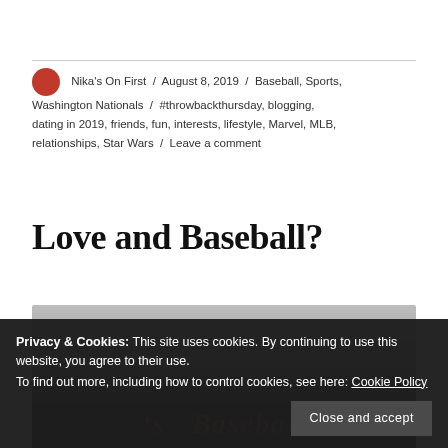Nika's On First / August 8, 2019 / Baseball, Sports, Washington Nationals / #throwbackthursday, blogging, dating in 2019, friends, fun, interests, lifestyle, Marvel, MLB, relationships, Star Wars / Leave a comment
Love and Baseball?
[Figure (photo): Partially visible image with script/handwritten text reading 'Baseball' in red cursive on a dark background]
Privacy & Cookies: This site uses cookies. By continuing to use this website, you agree to their use.
To find out more, including how to control cookies, see here: Cookie Policy